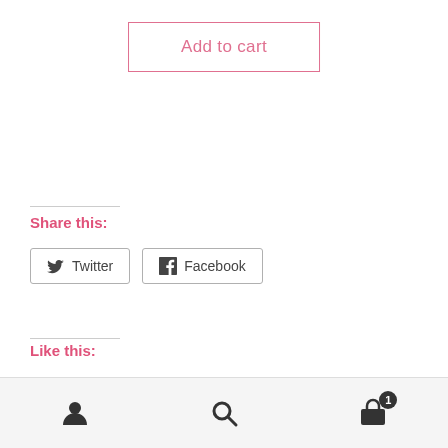Add to cart
Share this:
Twitter
Facebook
Like this:
Free shipping for all US orders above $80. Dismiss
[Figure (other): Bottom navigation bar with user icon, search icon, and cart icon with badge showing 1]